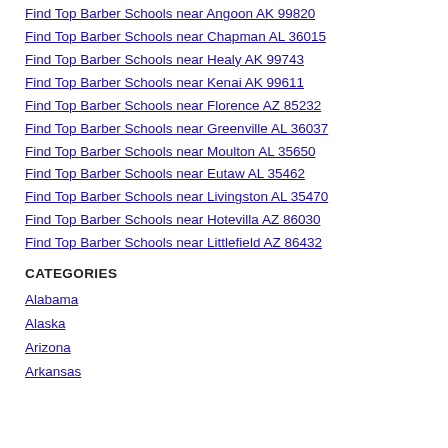Find Top Barber Schools near Angoon AK 99820
Find Top Barber Schools near Chapman AL 36015
Find Top Barber Schools near Healy AK 99743
Find Top Barber Schools near Kenai AK 99611
Find Top Barber Schools near Florence AZ 85232
Find Top Barber Schools near Greenville AL 36037
Find Top Barber Schools near Moulton AL 35650
Find Top Barber Schools near Eutaw AL 35462
Find Top Barber Schools near Livingston AL 35470
Find Top Barber Schools near Hotevilla AZ 86030
Find Top Barber Schools near Littlefield AZ 86432
CATEGORIES
Alabama
Alaska
Arizona
Arkansas